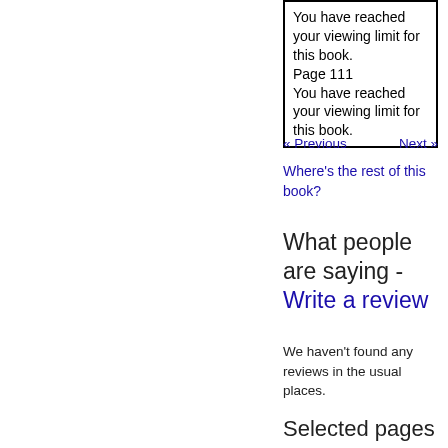You have reached your viewing limit for this book. Page 111 You have reached your viewing limit for this book.
« Previous   Next »
Where's the rest of this book?
What people are saying - Write a review
We haven't found any reviews in the usual places.
Selected pages